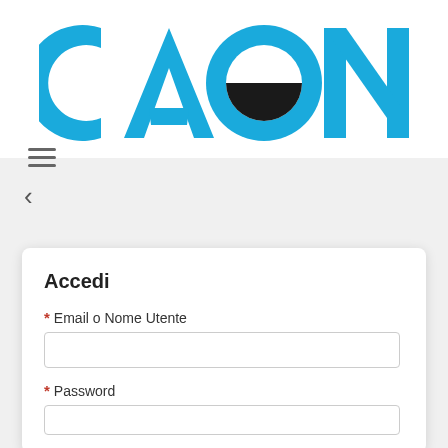[Figure (logo): CAON logo in bold blue letters with a black semicircle inside the O letter]
[Figure (other): Hamburger menu icon (three horizontal lines)]
[Figure (other): Back arrow chevron pointing left]
Accedi
* Email o Nome Utente
* Password